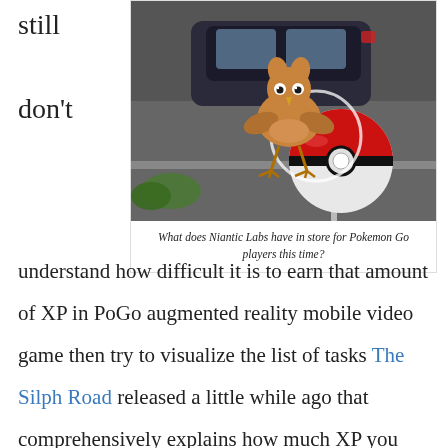still

don't
[Figure (photo): Augmented reality Pokemon Go screenshot showing a Pidgey pokemon and a Pokeball overlaid on a street scene with a car in the background]
What does Niantic Labs have in store for Pokemon Go players this time?
understand how difficult it is to earn that amount of XP in PoGo augmented reality mobile video game then try to visualize the list of tasks The Silph Road released a little while ago that comprehensively explains how much XP you earn for each activity in PoGo.